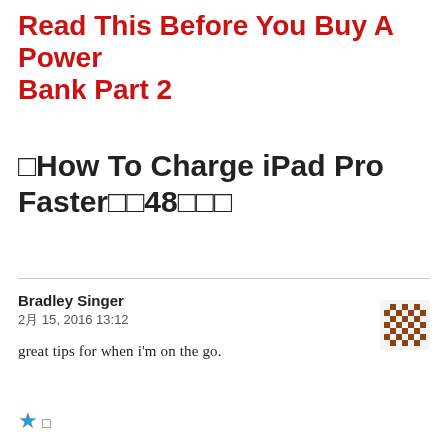Read This Before You Buy A Power Bank Part 2
□How To Charge iPad Pro Faster□□48□□□
Bradley Singer
2月 15, 2016 13:12

great tips for when i'm on the go.
★ □